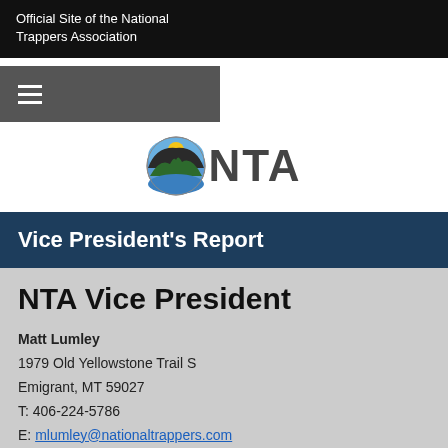Official Site of the National Trappers Association
[Figure (screenshot): Navigation bar with hamburger menu icon on dark gray background]
[Figure (logo): NTA logo: circular icon with mountain/nature scene beside bold text NTA]
Vice President's Report
NTA Vice President
Matt Lumley
1979 Old Yellowstone Trail S
Emigrant, MT 59027
T: 406-224-5786
E: mlumley@nationaltrappers.com